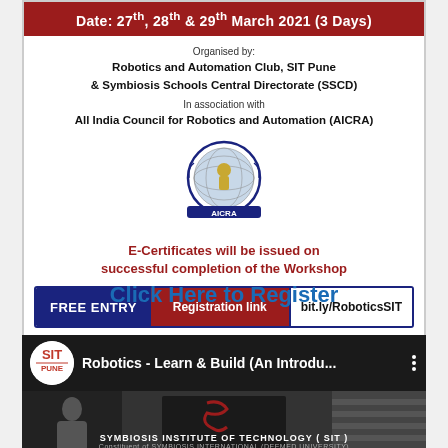Date: 27th, 28th & 29th March 2021 (3 Days)
Organised by:
Robotics and Automation Club, SIT Pune
& Symbiosis Schools Central Directorate (SSCD)
In association with
All India Council for Robotics and Automation (AICRA)
[Figure (logo): AICRA circular logo with globe and laurel wreath, text AICRA at bottom]
E-Certificates will be issued on successful completion of the Workshop
FREE ENTRY	Registration link	bit.ly/RoboticsSIT
*Limited Entries
Click Here to Register
[Figure (screenshot): YouTube video thumbnail: Robotics - Learn & Build (An Introdu... with SIT Pune logo and Symbiosis Institute of Technology branding]